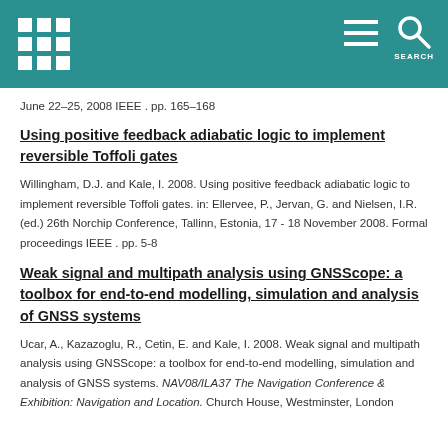SEARCH
June 22–25, 2008 IEEE . pp. 165–168
Using positive feedback adiabatic logic to implement reversible Toffoli gates
Willingham, D.J. and Kale, I. 2008. Using positive feedback adiabatic logic to implement reversible Toffoli gates. in: Ellervee, P., Jervan, G. and Nielsen, I.R. (ed.) 26th Norchip Conference, Tallinn, Estonia, 17 - 18 November 2008. Formal proceedings IEEE . pp. 5-8
Weak signal and multipath analysis using GNSScope: a toolbox for end-to-end modelling, simulation and analysis of GNSS systems
Ucar, A., Kazazoglu, R., Cetin, E. and Kale, I. 2008. Weak signal and multipath analysis using GNSScope: a toolbox for end-to-end modelling, simulation and analysis of GNSS systems. NAV08/ILA37 The Navigation Conference & Exhibition: Navigation and Location. Church House, Westminster, London